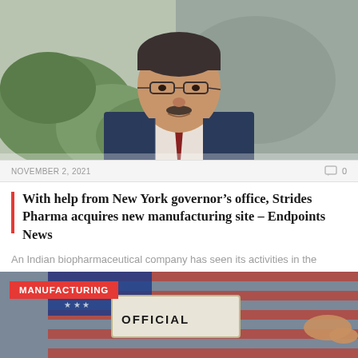[Figure (photo): Portrait photo of an Indian man in a dark suit with glasses and a mustache, outdoors with green foliage in background]
NOVEMBER 2, 2021    0
With help from New York governor's office, Strides Pharma acquires new manufacturing site – Endpoints News
An Indian biopharmaceutical company has seen its activities in the United States increase accordingly as...
[Figure (photo): Photo showing an American flag and a sign reading OFFICIAL, with a MANUFACTURING badge overlay]